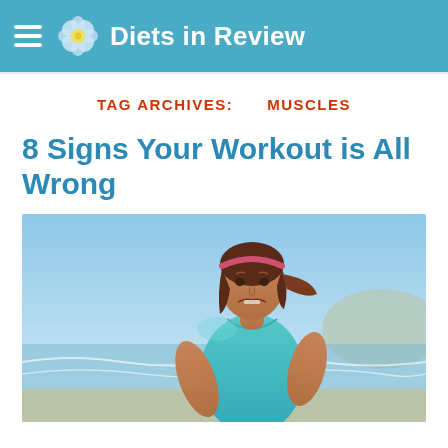Diets in Review
TAG ARCHIVES:    MUSCLES
8 Signs Your Workout is All Wrong
[Figure (photo): A woman in a blue tank top and pink headband, appearing strained or exhausted, at a beach setting with ocean waves and blue sky in the background.]